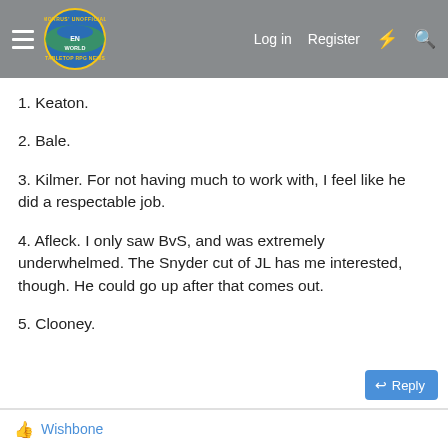Morrus' Unofficial Tabletop RPG News — Log in | Register
1. Keaton.
2. Bale.
3. Kilmer. For not having much to work with, I feel like he did a respectable job.
4. Afleck. I only saw BvS, and was extremely underwhelmed. The Snyder cut of JL has me interested, though. He could go up after that comes out.
5. Clooney.
Wishbone